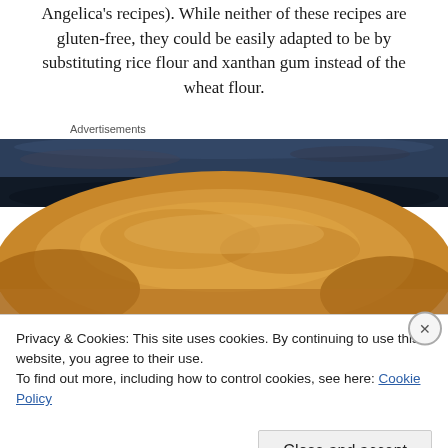Angelica's recipes). While neither of these recipes are gluten-free, they could be easily adapted to be by substituting rice flour and xanthan gum instead of the wheat flour.
Advertisements
[Figure (photo): Close-up photo of golden-brown baked dough or pie crust in a dark pan, viewed from above at an angle showing the surface texture.]
Privacy & Cookies: This site uses cookies. By continuing to use this website, you agree to their use.
To find out more, including how to control cookies, see here: Cookie Policy
Close and accept